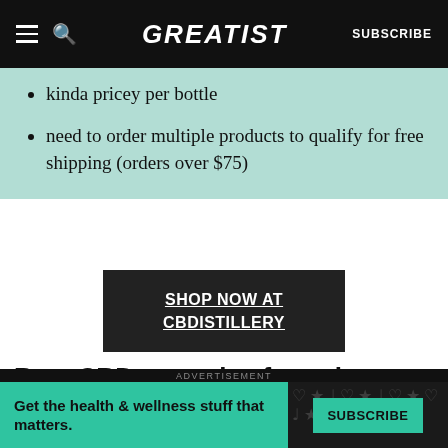GREATIST | SUBSCRIBE
kinda pricey per bottle
need to order multiple products to qualify for free shipping (orders over $75)
SHOP NOW AT CBDISTILLERY
Best CBD gummies for pain
CBDistillery Broad Spe... CBD
ADVERTISEMENT
Get the health & wellness stuff that matters.
SUBSCRIBE